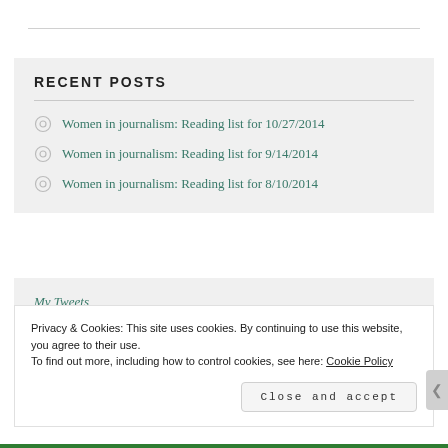RECENT POSTS
Women in journalism: Reading list for 10/27/2014
Women in journalism: Reading list for 9/14/2014
Women in journalism: Reading list for 8/10/2014
My Tweets
Privacy & Cookies: This site uses cookies. By continuing to use this website, you agree to their use.
To find out more, including how to control cookies, see here: Cookie Policy
Close and accept